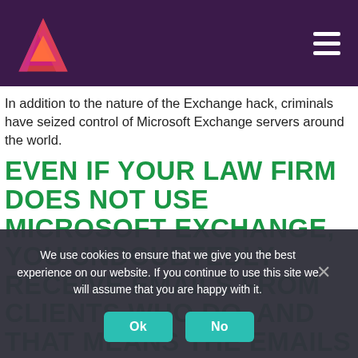In addition to the nature of the Exchange hack, criminals have seized control of Microsoft Exchange servers around the world.
EVEN IF YOUR LAW FIRM DOES NOT USE MICROSOFT EXCHANGE, YOU UNDOUBTEDLY RECEIVE EMAILS FROM CLIENTS WHO DO. AND THAT MEANS THE EMAILS
We use cookies to ensure that we give you the best experience on our website. If you continue to use this site we will assume that you are happy with it.